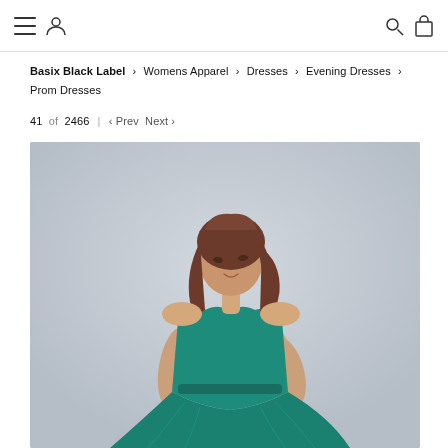Navigation header with hamburger menu, user icon, search icon, and bag icon
Basix Black Label › Womens Apparel › Dresses › Evening Dresses › Prom Dresses
41 of 2466 | ‹ Prev  Next ›
[Figure (photo): A woman wearing a teal/emerald strapless sweetheart neckline prom dress with flowing tulle skirt, photographed against a light gray background]